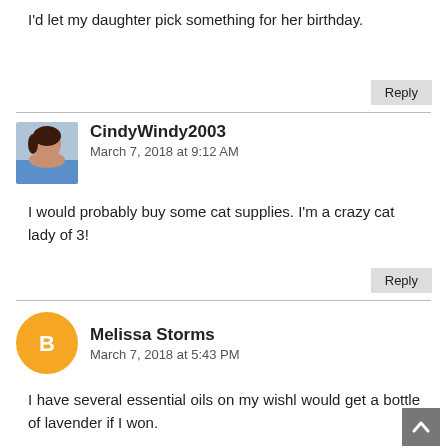I'd let my daughter pick something for her birthday.
Reply
CindyWindy2003
March 7, 2018 at 9:12 AM
I would probably buy some cat supplies. I'm a crazy cat lady of 3!
Reply
Melissa Storms
March 7, 2018 at 5:43 PM
I have several essential oils on my wishl would get a bottle of lavender if I won.